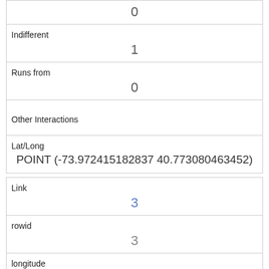|  | 0 |
| Indifferent | 1 |
| Runs from | 0 |
| Other Interactions |  |
| Lat/Long | POINT (-73.972415182837 40.773080463452) |
| Link | 3 |
| rowid | 3 |
| longitude | -73.9768311751004 |
| latitude | 40.7667178007255795 |
| Unique Squirrel ID | 2E-AM-1010-03 |